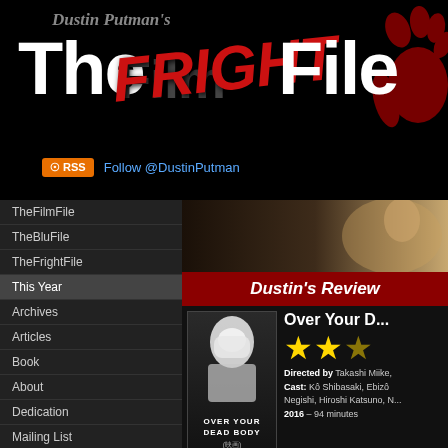Dustin Putman's The Fright File
Follow @DustinPutman
TheFilmFile
TheBluFile
TheFrightFile
This Year
Archives
Articles
Book
About
Dedication
Mailing List
Contact
Reviews by Title
[Figure (screenshot): Movie still banner from Over Your Dead Body]
Dustin's Review
[Figure (photo): Movie poster for Over Your Dead Body showing a pale figure covering their face]
Over Your D...
Directed by Takashi Miike. Cast: Kô Shibasaki, Ebizô Negishi, Hiroshi Katsuno, ... 2016 – 94 minutes